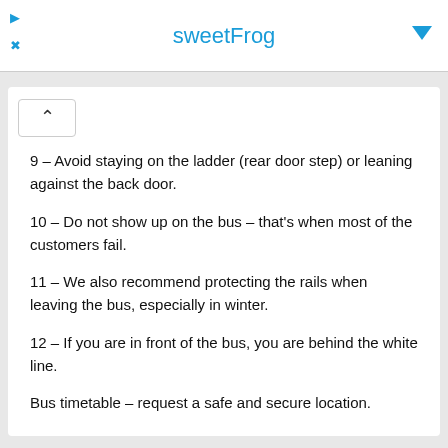sweetFrog
9 – Avoid staying on the ladder (rear door step) or leaning against the back door.
10 – Do not show up on the bus – that's when most of the customers fail.
11 – We also recommend protecting the rails when leaving the bus, especially in winter.
12 – If you are in front of the bus, you are behind the white line.
Bus timetable – request a safe and secure location.